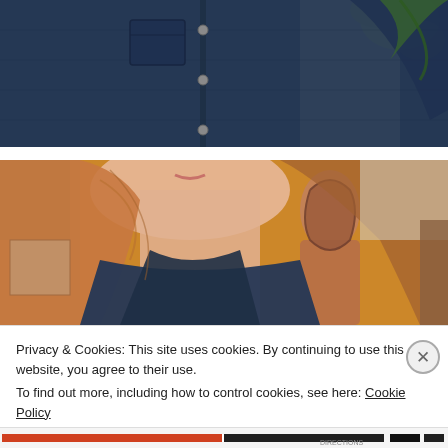[Figure (photo): Close-up photo of a person wearing a dark blue denim shirt, showing torso and chest area. A green plant and what appears to be artwork are visible in the background.]
[Figure (photo): Close-up photo of a woman with reddish-blonde hair wearing a dark blue denim shirt. A painting of a figure against an orange/yellow background is visible behind her.]
Privacy & Cookies: This site uses cookies. By continuing to use this website, you agree to their use.
To find out more, including how to control cookies, see here: Cookie Policy
Close and accept